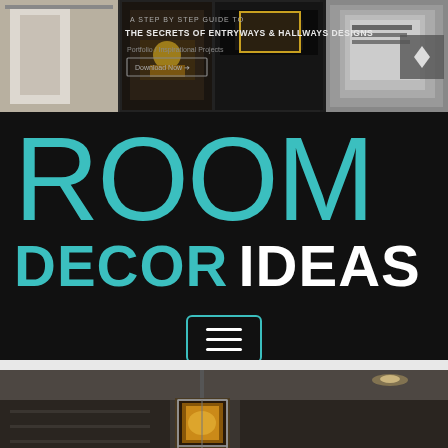[Figure (screenshot): Banner advertisement: 'A Step by Step Guide to The Secrets of Entryways & Hallways Designs' with interior design images and a Download Now button. Dark background with teal/gold accents.]
[Figure (logo): Room Decor Ideas logo. Large teal thin-font 'ROOM' above 'DECOR IDEAS' where DECOR is teal bold and IDEAS is white bold. Black background with teal horizontal rule and hamburger menu button below.]
[Figure (photo): Interior room photo showing a ceiling with pendant light fixture (geometric/lantern style with warm glow) and recessed lighting, shot from below.]